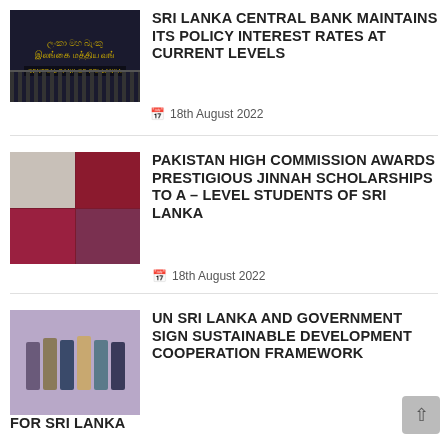[Figure (photo): Central Bank of Sri Lanka building gate with golden Sinhala and Tamil text on dark background]
SRI LANKA CENTRAL BANK MAINTAINS ITS POLICY INTEREST RATES AT CURRENT LEVELS
📅 18th August 2022
[Figure (photo): Collage of four photos showing Pakistan High Commission scholarship award ceremony with officials and students on a red-curtained stage]
PAKISTAN HIGH COMMISSION AWARDS PRESTIGIOUS JINNAH SCHOLARSHIPS TO A – LEVEL STUDENTS OF SRI LANKA
📅 18th August 2022
[Figure (photo): Group photo of UN and Sri Lanka government officials signing sustainable development cooperation framework, with Sri Lanka coat of arms banner in background]
UN SRI LANKA AND GOVERNMENT SIGN SUSTAINABLE DEVELOPMENT COOPERATION FRAMEWORK FOR SRI LANKA